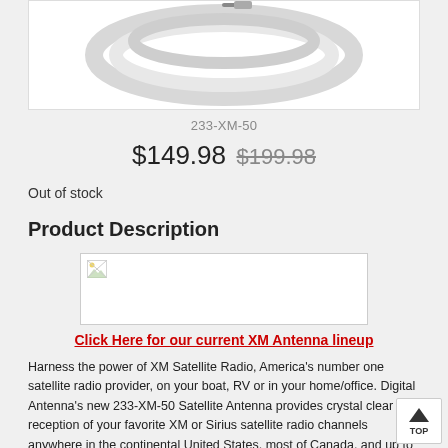[Figure (photo): Product photo of a white coiled cable/antenna, partially visible at top of page, on white background]
233-XM-50
$149.98 $199.98
Out of stock
Product Description
[Figure (photo): Broken/missing image placeholder with small broken image icon in top-left corner]
Click Here for our current XM Antenna lineup
Harness the power of XM Satellite Radio, America's number one satellite radio provider, on your boat, RV or in your home/office. Digital Antenna's new 233-XM-50 Satellite Antenna provides crystal clear reception of your favorite XM or Sirius satellite radio channels anywhere in the continental United States, most of Canada, and up to